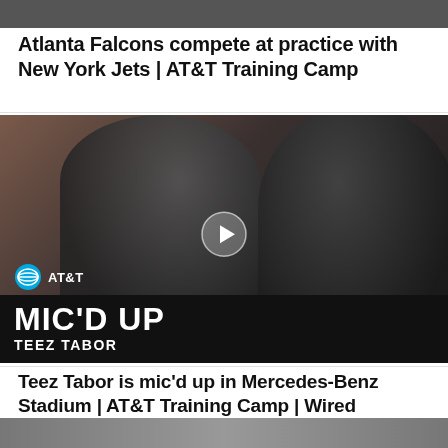[Figure (photo): Top strip image, partially visible, dark tones]
Atlanta Falcons compete at practice with New York Jets | AT&T Training Camp
[Figure (screenshot): Video thumbnail showing two Atlanta Falcons players in black ATL jerseys. AT&T logo in bottom left. Text overlay: MIC'D UP / TEEZ TABOR with a play button in the center.]
Teez Tabor is mic'd up in Mercedes-Benz Stadium | AT&T Training Camp | Wired
[Figure (photo): Bottom strip, partially visible image]